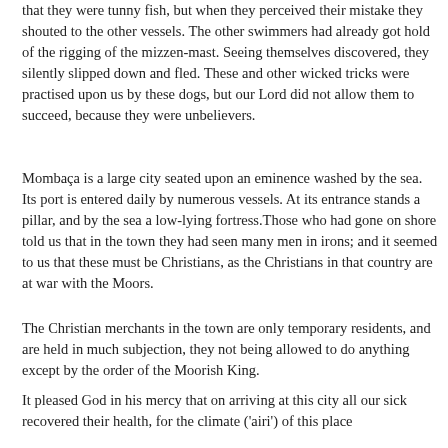that they were tunny fish, but when they perceived their mistake they shouted to the other vessels. The other swimmers had already got hold of the rigging of the mizzen-mast. Seeing themselves discovered, they silently slipped down and fled. These and other wicked tricks were practised upon us by these dogs, but our Lord did not allow them to succeed, because they were unbelievers.
Mombaça is a large city seated upon an eminence washed by the sea. Its port is entered daily by numerous vessels. At its entrance stands a pillar, and by the sea a low-lying fortress.Those who had gone on shore told us that in the town they had seen many men in irons; and it seemed to us that these must be Christians, as the Christians in that country are at war with the Moors.
The Christian merchants in the town are only temporary residents, and are held in much subjection, they not being allowed to do anything except by the order of the Moorish King.
It pleased God in his mercy that on arriving at this city all our sick recovered their health, for the climate ('airi') of this place...